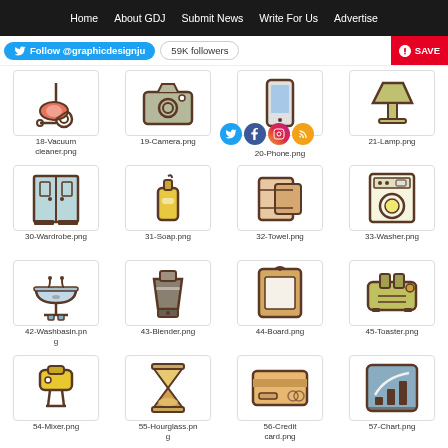Home | About GDJ | Submit News | Write For Us | Advertise
Follow @graphicdesignju  59K followers  SAVE
[Figure (illustration): Grid of home/kitchen icons: 18-Vacuum cleaner.png, 19-Camera.png, 20-Phone.png, 21-Lamp.png, 30-Wardrobe.png, 31-Soap.png, 32-Towel.png, 33-Washer.png, 42-Washbasin.png, 43-Blender.png, 44-Board.png, 45-Toaster.png, 54-Mixer.png, 55-Hourglass.png, 56-Credit card.png, 57-Chart.png]